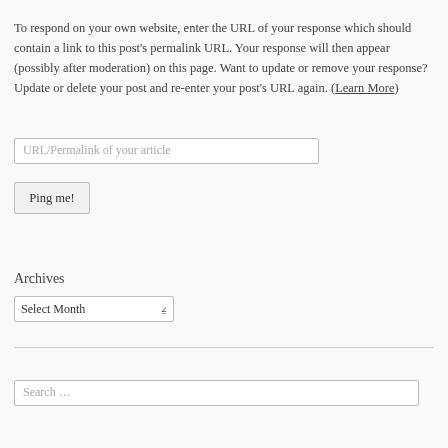To respond on your own website, enter the URL of your response which should contain a link to this post's permalink URL. Your response will then appear (possibly after moderation) on this page. Want to update or remove your response? Update or delete your post and re-enter your post's URL again. (Learn More)
URL/Permalink of your article
Ping me!
Archives
Select Month
Search …